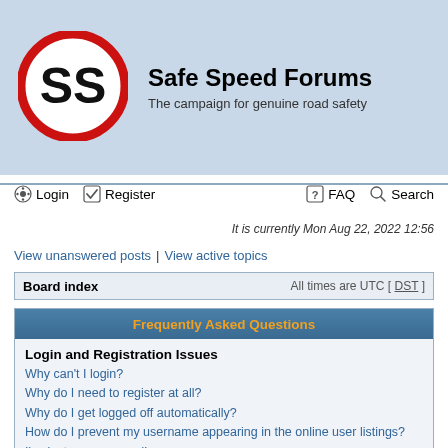[Figure (logo): Safe Speed Forums logo: circular red border with white background and bold black 'SS' letters inside]
Safe Speed Forums
The campaign for genuine road safety
Login | Register | FAQ | Search | It is currently Mon Aug 22, 2022 12:56
View unanswered posts | View active topics
Board index   All times are UTC [ DST ]
Frequently Asked Questions
Login and Registration Issues
Why can't I login?
Why do I need to register at all?
Why do I get logged off automatically?
How do I prevent my username appearing in the online user listings?
I've lost my password!
I registered but cannot login!
I registered in the past but cannot login any more?!
What is COPPA?
Why can't I register?
What does the “Delete all board cookies” do?
User Preferences and settings
How do I change my settings?